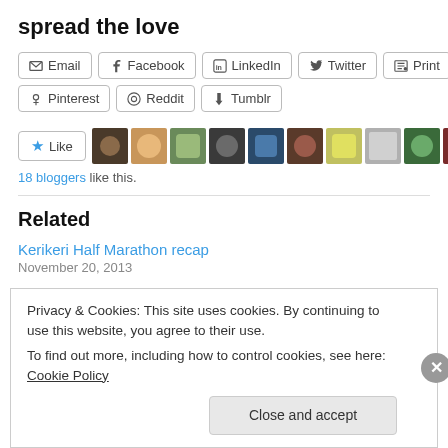spread the love
Email | Facebook | LinkedIn | Twitter | Print | Pinterest | Reddit | Tumblr
[Figure (other): Like button with 18 blogger avatar thumbnails]
18 bloggers like this.
Related
Kerikeri Half Marathon recap
November 20, 2013
Privacy & Cookies: This site uses cookies. By continuing to use this website, you agree to their use. To find out more, including how to control cookies, see here: Cookie Policy
Close and accept